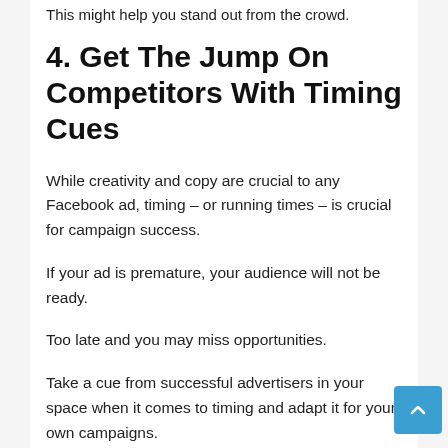This might help you stand out from the crowd.
4. Get The Jump On Competitors With Timing Cues
While creativity and copy are crucial to any Facebook ad, timing – or running times – is crucial for campaign success.
If your ad is premature, your audience will not be ready.
Too late and you may miss opportunities.
Take a cue from successful advertisers in your space when it comes to timing and adapt it for your own campaigns.